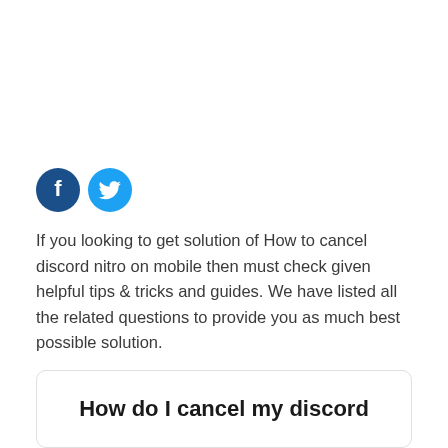[Figure (other): Facebook and Twitter social media icon buttons — blue circle with 'f' and cyan circle with bird icon]
If you looking to get solution of How to cancel discord nitro on mobile then must check given helpful tips & tricks and guides. We have listed all the related questions to provide you as much best possible solution.
How do I cancel my discord